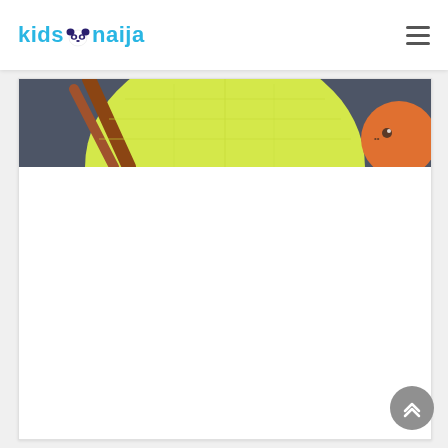kids naija
[Figure (illustration): Partial cartoon illustration showing a yellow-green semicircle (sun or lamp) against a dark blue-grey background, with a brown diagonal element on the left and an orange circular character on the right edge. This is the top portion of an article thumbnail image on the kidsnaija website.]